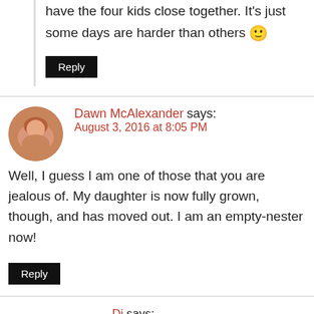have the four kids close together. It's just some days are harder than others 🙂
Reply
Dawn McAlexander says: August 3, 2016 at 8:05 PM
Well, I guess I am one of those that you are jealous of. My daughter is now fully grown, though, and has moved out. I am an empty-nester now!
Reply
Di says: August 3, 2016 at 9:24 PM
Hahaha I can definitely see how one kid would be easier